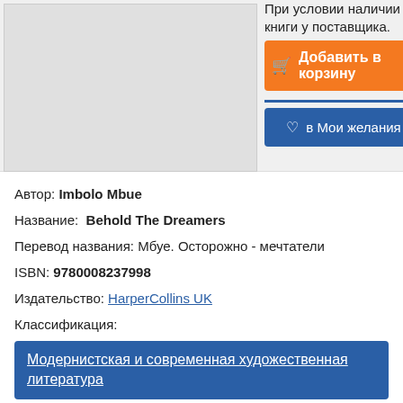[Figure (photo): Book cover image placeholder area (grey rectangle)]
При условии наличии книги у поставщика.
Добавить в корзину
в Мои желания
Автор: Imbolo Mbue
Название:  Behold The Dreamers
Перевод названия: Мбуе. Осторожно - мечтатели
ISBN: 9780008237998
Издательство: HarperCollins UK
Классификация:
Модернистская и современная художественная литература
ISBN 10: 0008237998